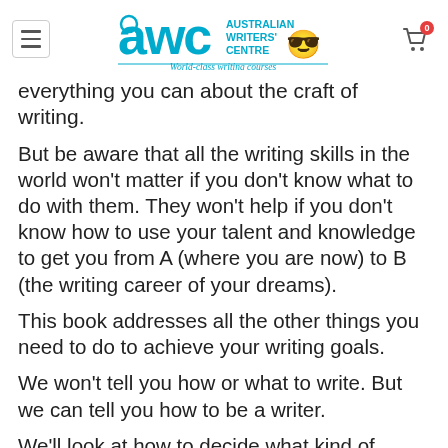AWC Australian Writers' Centre — World-class writing courses
everything you can about the craft of writing.
But be aware that all the writing skills in the world won't matter if you don't know what to do with them. They won't help if you don't know how to use your talent and knowledge to get you from A (where you are now) to B (the writing career of your dreams).
This book addresses all the other things you need to do to achieve your writing goals.
We won't tell you how or what to write. But we can tell you how to be a writer.
We'll look at how to decide what kind of writer